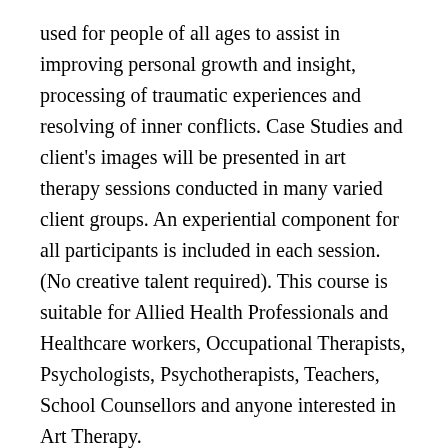used for people of all ages to assist in improving personal growth and insight, processing of traumatic experiences and resolving of inner conflicts. Case Studies and client's images will be presented in art therapy sessions conducted in many varied client groups. An experiential component for all participants is included in each session. (No creative talent required). This course is suitable for Allied Health Professionals and Healthcare workers, Occupational Therapists, Psychologists, Psychotherapists, Teachers, School Counsellors and anyone interested in Art Therapy.
Session 1: Where did Art Therapy come from? What is Art Therapy?
Session 2: Guided Imagery techniques